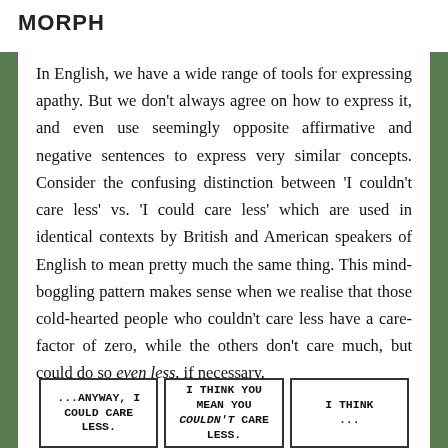MORPH
In English, we have a wide range of tools for expressing apathy. But we don't always agree on how to express it, and even use seemingly opposite affirmative and negative sentences to express very similar concepts. Consider the confusing distinction between 'I couldn't care less' vs. 'I could care less' which are used in identical contexts by British and American speakers of English to mean pretty much the same thing. This mind-boggling pattern makes sense when we realise that those cold-hearted people who couldn't care less have a care-factor of zero, while the others don't care much, but could do so even less, if necessary.
[Figure (illustration): Three comic strip panels at the bottom of the page. First panel shows handwritten text '...ANYWAY, I COULD CARE LESS.' Second panel shows handwritten text 'I THINK YOU MEAN YOU COULDN'T CARE LESS.' Third panel is partially visible.]